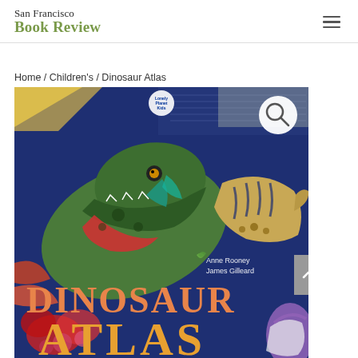San Francisco Book Review
Home / Children's / Dinosaur Atlas
[Figure (photo): Book cover of 'Dinosaur Atlas' by Anne Rooney and James Gilleard, published by Lonely Planet Kids. Dark blue background with illustrated colorful dinosaurs including a large green dinosaur head in the center and a striped dinosaur on the right. Large text reads 'DINOSAUR ATLAS' in orange/gold at the bottom. A magnifying glass search icon is visible in the upper right of the image.]